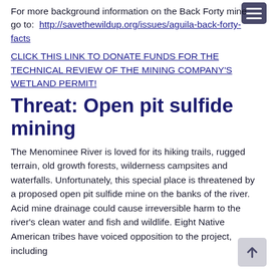For more background information on the Back Forty mine go to: http://savethewildup.org/issues/aguila-back-forty-facts
CLICK THIS LINK TO DONATE FUNDS FOR THE TECHNICAL REVIEW OF THE MINING COMPANY'S WETLAND PERMIT!
Threat: Open pit sulfide mining
The Menominee River is loved for its hiking trails, rugged terrain, old growth forests, wilderness campsites and waterfalls. Unfortunately, this special place is threatened by a proposed open pit sulfide mine on the banks of the river. Acid mine drainage could cause irreversible harm to the river's clean water and fish and wildlife. Eight Native American tribes have voiced opposition to the project, including